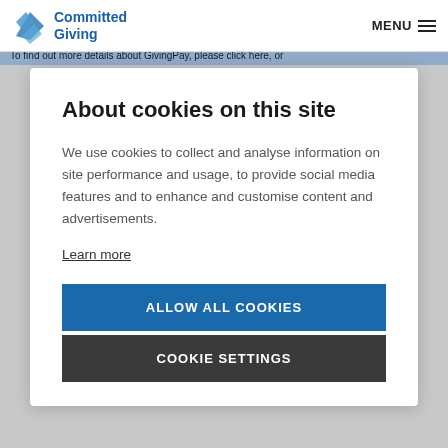[Figure (logo): Committed Giving logo with blue folded paper icon and text]
MENU ≡
To find out more details about GivingPay, please click here, or
About cookies on this site
We use cookies to collect and analyse information on site performance and usage, to provide social media features and to enhance and customise content and advertisements.
Learn more
ALLOW ALL COOKIES
COOKIE SETTINGS